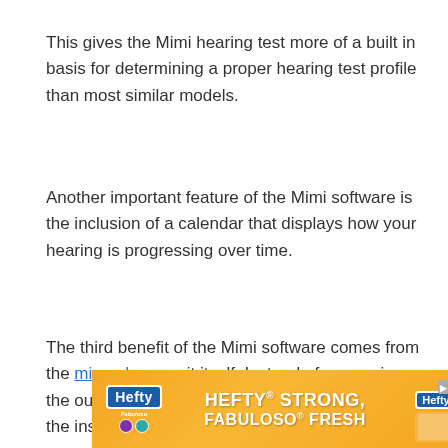This gives the Mimi hearing test more of a built in basis for determining a proper hearing test profile than most similar models.
Another important feature of the Mimi software is the inclusion of a calendar that displays how your hearing is progressing over time.
The third benefit of the Mimi software comes from the microphone unit itself. Instead of measuring the outside of your ear, the microphone measures the inside of your ear.
[Figure (other): Orange advertisement banner for Hefty and Fabuloso products with text 'HEFTY STRONG, FABULOSO FRESH']